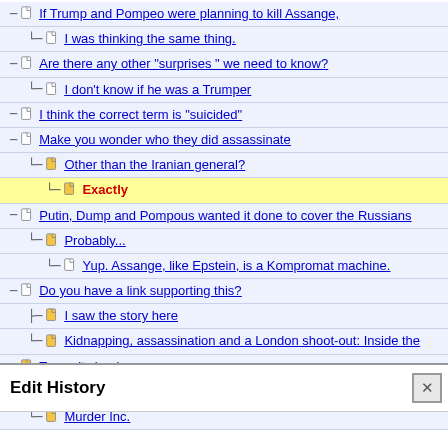If Trump and Pompeo were planning to kill Assange,
I was thinking the same thing.
Are there any other "surprises" we need to know?
I don't know if he was a Trumper
I think the correct term is "suicided"
Make you wonder who they did assassinate
Other than the Iranian general?
Exactly
Putin, Dump and Pompous wanted it done to cover the Russians
Probably...
Yup. Assange, like Epstein, is a Kompromat machine.
Do you have a link supporting this?
I saw the story here
Kidnapping, assassination and a London shoot-out: Inside the
To me it clearly
From there, it's only one small step to Jamal Khashoggi
Murder Inc.
Edit History